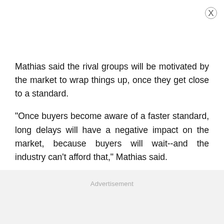Mathias said the rival groups will be motivated by the market to wrap things up, once they get close to a standard.
"Once buyers become aware of a faster standard, long delays will have a negative impact on the market, because buyers will wait--and the industry can't afford that," Mathias said.
Advertisement